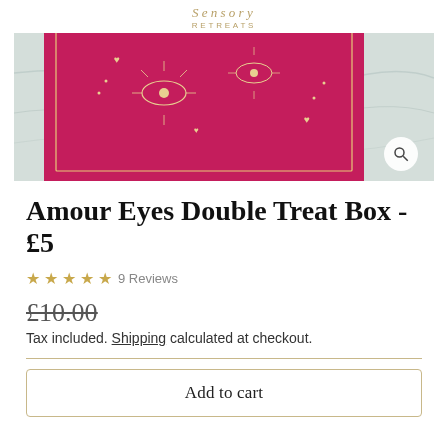Sensory Retreats
[Figure (photo): Product photo of a red/magenta box with gold eye and heart decorations on a marble surface, with a magnifying glass icon in the bottom right corner.]
Amour Eyes Double Treat Box - £5
★★★★★ 9 Reviews
£10.00 (strikethrough)
Tax included. Shipping calculated at checkout.
Add to cart